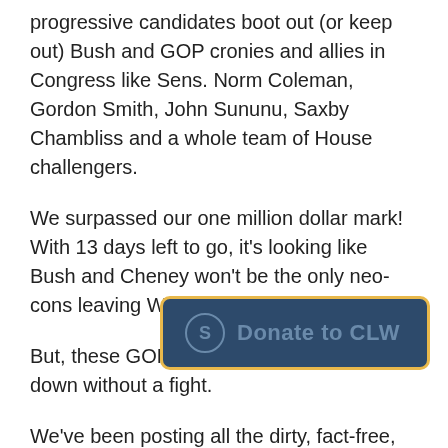progressive candidates boot out (or keep out) Bush and GOP cronies and allies in Congress like Sens. Norm Coleman, Gordon Smith, John Sununu, Saxby Chambliss and a whole team of House challengers.
We surpassed our one million dollar mark! With 13 days left to go, it's looking like Bush and Cheney won't be the only neo-cons leaving Washington in January 2009.
But, these GOP incumbents aren't going down without a fight.
We've been posting all the dirty, fact-free, Rove-style tactics that many Repub[lican] challengers have been de[ploying,] like saying Ohio's 15 district House candidate Mary Jo Kilroy is a socialist (sounds like another campaign I know). Colorado's 4th district candidate
[Figure (other): Donate to CLW button overlay with dark blue background and gold border, showing a circular S icon and bold text 'Donate to CLW']